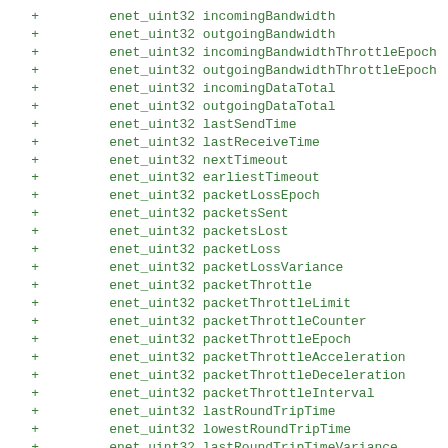+         enet_uint32 incomingBandwidth
+         enet_uint32 outgoingBandwidth
+         enet_uint32 incomingBandwidthThrottleEpoch
+         enet_uint32 outgoingBandwidthThrottleEpoch
+         enet_uint32 incomingDataTotal
+         enet_uint32 outgoingDataTotal
+         enet_uint32 lastSendTime
+         enet_uint32 lastReceiveTime
+         enet_uint32 nextTimeout
+         enet_uint32 earliestTimeout
+         enet_uint32 packetLossEpoch
+         enet_uint32 packetsSent
+         enet_uint32 packetsLost
+         enet_uint32 packetLoss
+         enet_uint32 packetLossVariance
+         enet_uint32 packetThrottle
+         enet_uint32 packetThrottleLimit
+         enet_uint32 packetThrottleCounter
+         enet_uint32 packetThrottleEpoch
+         enet_uint32 packetThrottleAcceleration
+         enet_uint32 packetThrottleDeceleration
+         enet_uint32 packetThrottleInterval
+         enet_uint32 lastRoundTripTime
+         enet_uint32 lowestRoundTripTime
+         enet_uint32 lastRoundTripTimeVariance
+         enet_uint32 highestRoundTripTimeVariance
+         enet_uint32 roundTripTime
+         enet_uint32 roundTripTimeVariance
+         enet_uint32 mtu
+         enet_uint32 windowSize